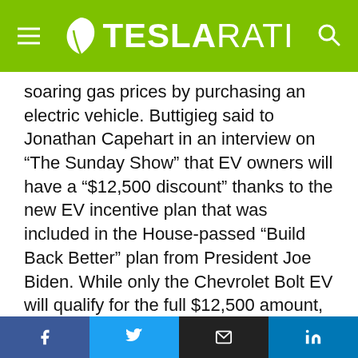TESLARATI
soaring gas prices by purchasing an electric vehicle. Buttigieg said to Jonathan Capehart in an interview on “The Sunday Show” that EV owners will have a “$12,500 discount” thanks to the new EV incentive plan that was included in the House-passed “Build Back Better” plan from President Joe Biden. While only the Chevrolet Bolt EV will qualify for the full $12,500 amount, nearly every EV built in the United States will qualify for a $7,500 tax credit.
Buttigieg also went on to say that those in rural areas would be most likely to benefit from the purchase of an EV. “The people who stand to
[Figure (other): Social sharing bar with Facebook, Twitter, Email, and LinkedIn buttons]